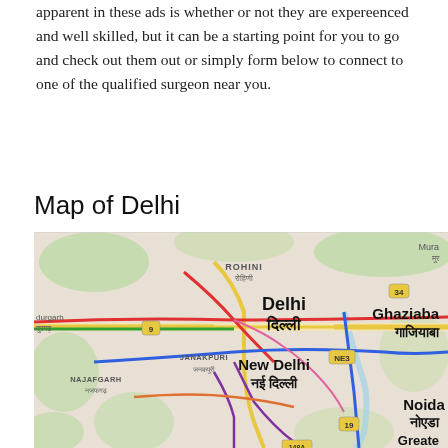apparent in these ads is whether or not they are expereenced and well skilled, but it can be a starting point for you to go and check out them out or simply form below to connect to one of the qualified surgeon near you.
Map of Delhi
[Figure (map): Google Maps view of Delhi showing areas including Rohini, Delhi (दिल्ली), New Delhi (नई दिल्ली), Ghaziabad (गाजियाबाद), Noida (नोएडा), Najafgarh (नजफगढ़), Janakpuri (जनकपुरी), Greater Noida area, and road numbers 9, 34, NE3, 19, 148A, Mura. Map shows colored metro/road lines in red, blue, green, yellow, purple, orange.]